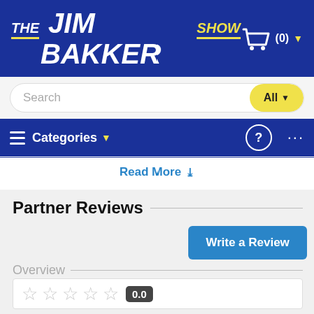THE JIM BAKKER SHOW
Search
All
Categories
Read More
Partner Reviews
Write a Review
Overview
0.0